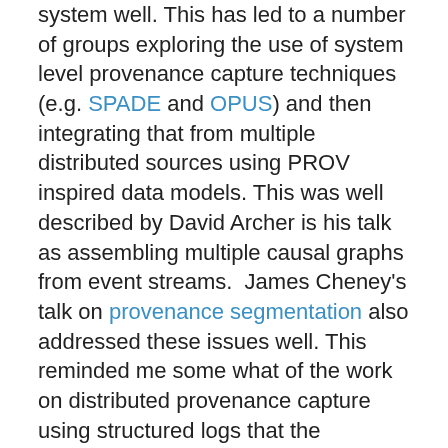system well. This has led to a number of groups exploring the use of system level provenance capture techniques (e.g. SPADE and OPUS) and then integrating that from multiple distributed sources using PROV inspired data models. This was well described by David Archer is his talk as assembling multiple causal graphs from event streams.  James Cheney's talk on provenance segmentation also addressed these issues well. This reminded me some what of the work on distributed provenance capture using structured logs that the Netlogger and Pegasus teams do, however, they leverage the structure of a workflow system to help with the assembly.
I particularly liked Yang Ji, Sangho Lee and  Wenke Lee's work on using user level record and replay to track and replay provenance. This builds upon some of our